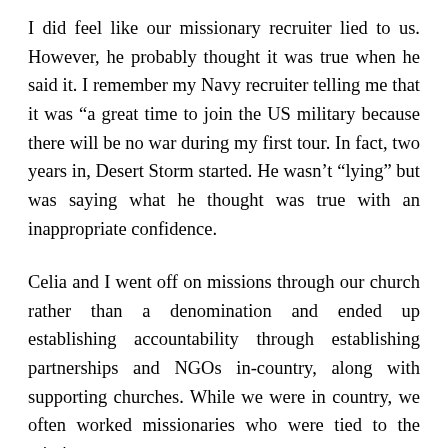I did feel like our missionary recruiter lied to us. However, he probably thought it was true when he said it. I remember my Navy recruiter telling me that it was “a great time to join the US military because there will be no war during my first tour. In fact, two years in, Desert Storm started. He wasn’t “lying” but was saying what he thought was true with an inappropriate confidence.
Celia and I went off on missions through our church rather than a denomination and ended up establishing accountability through establishing partnerships and NGOs in-country, along with supporting churches. While we were in country, we often worked missionaries who were tied to the mission agency we